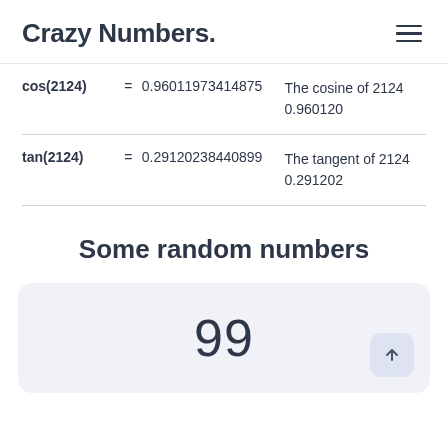Crazy Numbers.
| Function | = | Value | Description |
| --- | --- | --- | --- |
| cos(2124) | = | 0.96011973414875 | The cosine of 2124 is 0.960120 |
| tan(2124) | = | 0.29120238440899 | The tangent of 2124 is 0.291202 |
Some random numbers
99